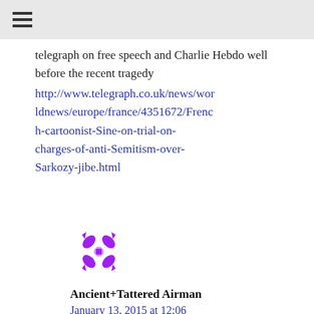☰
telegraph on free speech and Charlie Hebdo well before the recent tragedy
http://www.telegraph.co.uk/news/worldnews/europe/france/4351672/French-cartoonist-Sine-on-trial-on-charges-of-anti-Semitism-over-Sarkozy-jibe.html
Reply
[Figure (illustration): Purple decorative avatar/icon with floral-like pattern]
Ancient+Tattered Airman
January 13, 2015 at 12:06 pm
A very well written and thought provoking article Petunia. Kudos for Fat